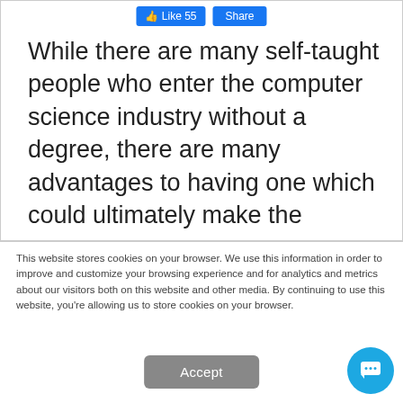[Figure (screenshot): Facebook-style Like (55) and Share buttons]
While there are many self-taught people who enter the computer science industry without a degree, there are many advantages to having one which could ultimately make the
This website stores cookies on your browser. We use this information in order to improve and customize your browsing experience and for analytics and metrics about our visitors both on this website and other media. By continuing to use this website, you're allowing us to store cookies on your browser.
Accept